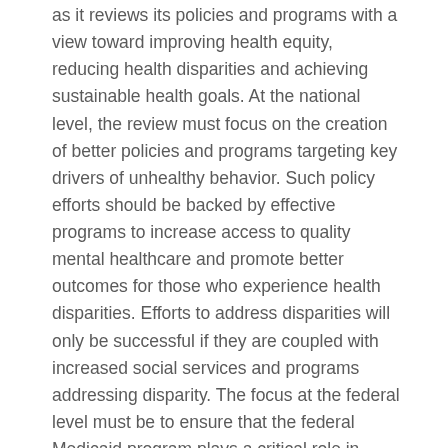as it reviews its policies and programs with a view toward improving health equity, reducing health disparities and achieving sustainable health goals. At the national level, the review must focus on the creation of better policies and programs targeting key drivers of unhealthy behavior. Such policy efforts should be backed by effective programs to increase access to quality mental healthcare and promote better outcomes for those who experience health disparities. Efforts to address disparities will only be successful if they are coupled with increased social services and programs addressing disparity. The focus at the federal level must be to ensure that the federal Medicaid program plays a critical role in promoting health equity.
One strategy to reduce health care disparities among racial and ethnic groups is the development of community partnerships. Such partnerships build on the shared experience and expertise of local organizations to identify, treat and eliminate health care disparities. To